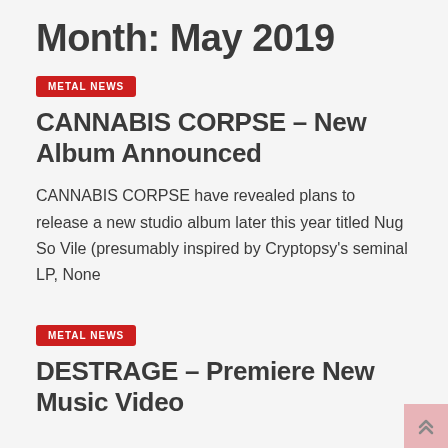Month: May 2019
METAL NEWS
CANNABIS CORPSE – New Album Announced
CANNABIS CORPSE have revealed plans to release a new studio album later this year titled Nug So Vile (presumably inspired by Cryptopsy's seminal LP, None
METAL NEWS
DESTRAGE – Premiere New Music Video